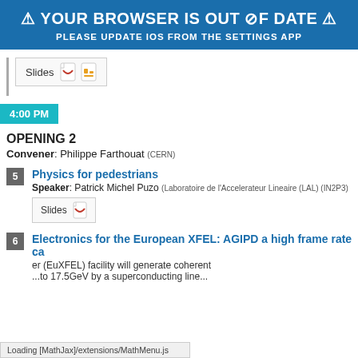⚠ YOUR BROWSER IS OUT OF DATE ⚠
PLEASE UPDATE IOS FROM THE SETTINGS APP
[Figure (screenshot): Slides button row with PDF and presentation icons]
4:00 PM
OPENING 2
Convener: Philippe Farthouat (CERN)
5 Physics for pedestrians
Speaker: Patrick Michel Puzo (Laboratoire de l'Accelerateur Lineaire (LAL) (IN2P3)
[Figure (screenshot): Slides button with PDF icon]
6 Electronics for the European XFEL: AGIPD a high frame rate ca...
...er (EuXFEL) facility will generate coherent
...to 17.5GeV by a superconducting line...
Loading [MathJax]/extensions/MathMenu.js